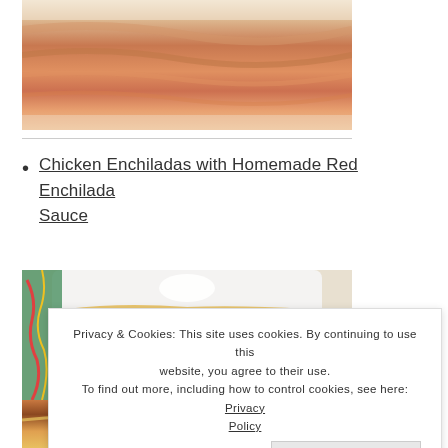[Figure (photo): Close-up photo of what appears to be a layered food item, possibly a cake or lasagna with orange/red filling, on a white plate]
Chicken Enchiladas with Homemade Red Enchilada Sauce
[Figure (photo): Photo of chicken enchiladas in a white rectangular baking dish, topped with melted cheese and garnished with herbs, with a colorful patterned cloth nearby]
Privacy & Cookies: This site uses cookies. By continuing to use this website, you agree to their use. To find out more, including how to control cookies, see here: Privacy Policy
[Figure (photo): Partial photo of enchiladas at the bottom of the page]